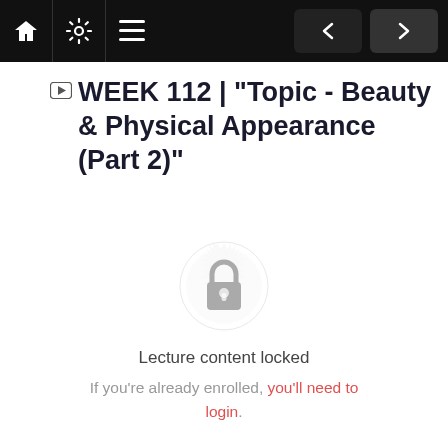Navigation bar with home, settings, menu icons and prev/next buttons
WEEK 112 | "Topic - Beauty & Physical Appearance (Part 2)"
[Figure (illustration): Lock icon centered on a decorative gear/mandala badge background, indicating locked content]
Lecture content locked
If you're already enrolled, you'll need to login.